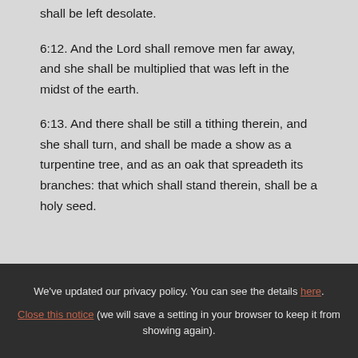shall be left desolate.
6:12. And the Lord shall remove men far away, and she shall be multiplied that was left in the midst of the earth.
6:13. And there shall be still a tithing therein, and she shall turn, and shall be made a show as a turpentine tree, and as an oak that spreadeth its branches: that which shall stand therein, shall be a holy seed.
We've updated our privacy policy. You can see the details here. Close this notice (we will save a setting in your browser to keep it from showing again).